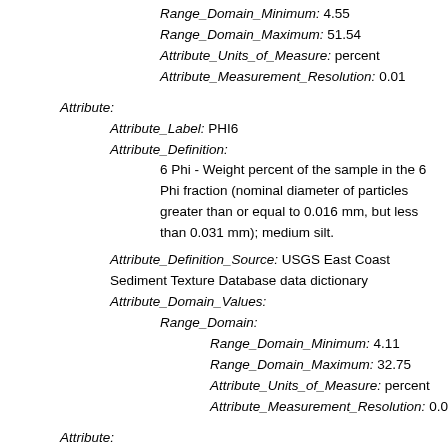Range_Domain_Minimum: 4.55
Range_Domain_Maximum: 51.54
Attribute_Units_of_Measure: percent
Attribute_Measurement_Resolution: 0.01
Attribute:
Attribute_Label: PHI6
Attribute_Definition:
6 Phi - Weight percent of the sample in the 6 Phi fraction (nominal diameter of particles greater than or equal to 0.016 mm, but less than 0.031 mm); medium silt.
Attribute_Definition_Source: USGS East Coast Sediment Texture Database data dictionary
Attribute_Domain_Values:
Range_Domain:
Range_Domain_Minimum: 4.11
Range_Domain_Maximum: 32.75
Attribute_Units_of_Measure: percent
Attribute_Measurement_Resolution: 0.01
Attribute:
Attribute_Label: PHI5
Attribute_Definition: